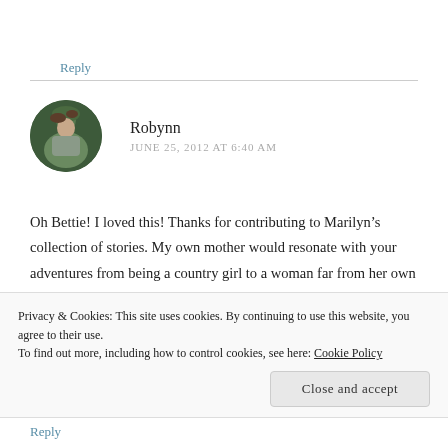Reply
[Figure (photo): Circular avatar photo of Robynn, a woman outdoors with greenery in the background]
Robynn
JUNE 25, 2012 AT 6:40 AM
Oh Bettie! I loved this! Thanks for contributing to Marilyn’s collection of stories. My own mother would resonate with your adventures from being a country girl to a woman far from her own country.
I reuse my zip lock bags too…but would be the advantage of storing
Privacy & Cookies: This site uses cookies. By continuing to use this website, you agree to their use.
To find out more, including how to control cookies, see here: Cookie Policy
Close and accept
Reply